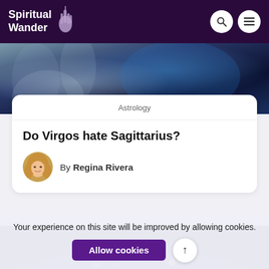Spiritual Wander
[Figure (photo): Misty dark blue atmospheric background image with hand silhouette and blue glowing nebula effect]
Astrology
Do Virgos hate Sagittarius?
By Regina Rivera
[Figure (photo): Dark purple background with glowing blue zodiac wheel showing astrological symbols including Aquarius, Taurus, Gemini, Capricorn]
Your experience on this site will be improved by allowing cookies.